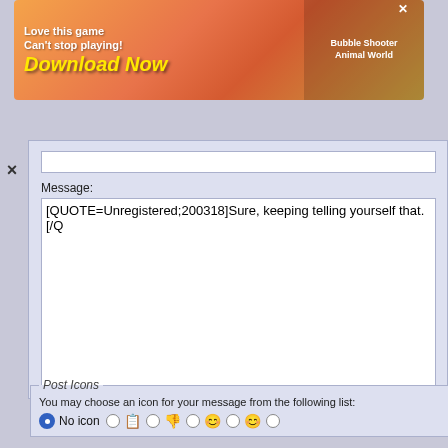[Figure (screenshot): Bubble Shooter Animal World game advertisement banner with orange/warm gradient background, 'Love this game Can't stop playing!' text, 'Download Now' in large yellow italic text, and Bubble Shooter Animal World label on right side with close X button.]
×
Message:
[QUOTE=Unregistered;200318]Sure, keeping telling yourself that.[/Q
Post Icons
You may choose an icon for your message from the following list:
No icon